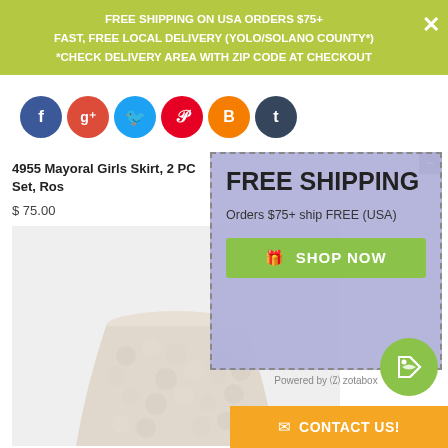FREE SHIPPING ON USA ORDERS $75+
FAST, FREE LOCAL DELIVERY (YOLO/SOLANO COUNTY*)
*CHECK DELIVERY AREA WITH ZIP CODE AT CHECKOUT
[Figure (screenshot): Social media icons row: Facebook (blue), Google+ (red), Twitter (blue), Pinterest (red), Blogger (orange), Tumblr (dark blue)]
4955 Mayoral Girls Skirt, 2 PC Set, Ros
$ 75.00
[Figure (photo): Product photo of a fuzzy/fluffy light beige girls skirt on white background]
[Figure (infographic): FREE SHIPPING popup overlay with dashed border on purple/lavender background. Title: FREE SHIPPING. Subtitle: Orders $75+ ship FREE (USA). Green button: SHOP NOW with gift icon. Powered by zotabox.]
[Figure (other): Green circular tag/label icon button at bottom right]
[Figure (other): Orange CONTACT US! bar at bottom right with envelope icon]